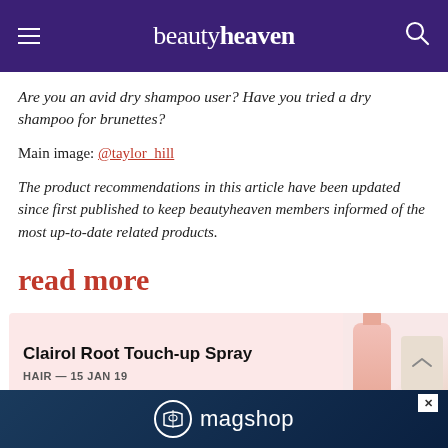beautyheaven
Are you an avid dry shampoo user? Have you tried a dry shampoo for brunettes?
Main image: @taylor_hill
The product recommendations in this article have been updated since first published to keep beautyheaven members informed of the most up-to-date related products.
read more
Clairol Root Touch-up Spray
HAIR — 15 JAN 19
[Figure (screenshot): magshop advertisement banner at bottom of page]